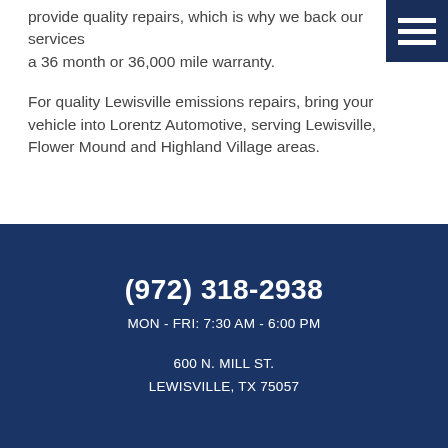provide quality repairs, which is why we back our services a 36 month or 36,000 mile warranty.
For quality Lewisville emissions repairs, bring your vehicle into Lorentz Automotive, serving Lewisville, Flower Mound and Highland Village areas.
(972) 318-2938
MON - FRI: 7:30 AM - 6:00 PM
600 N. MILL ST.
LEWISVILLE, TX 75057